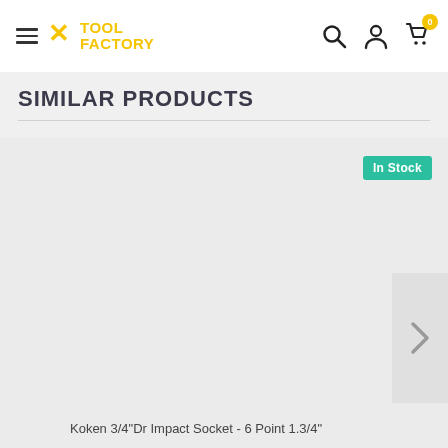Tool Factory - navigation header with hamburger menu, logo, search, account, and cart icons
SIMILAR PRODUCTS
In Stock
[Figure (photo): Product listing area showing a similar product with In Stock badge and next arrow navigation button]
Koken 3/4"Dr Impact Socket - 6 Point 1.3/4"